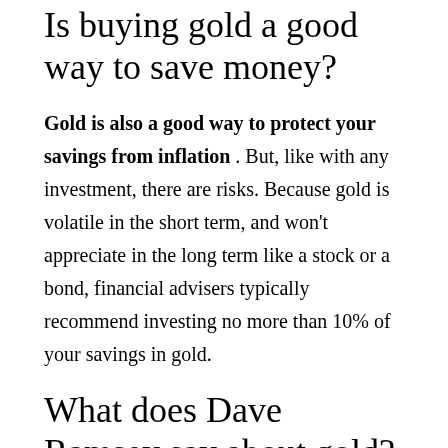Is buying gold a good way to save money?
Gold is also a good way to protect your savings from inflation . But, like with any investment, there are risks. Because gold is volatile in the short term, and won't appreciate in the long term like a stock or a bond, financial advisers typically recommend investing no more than 10% of your savings in gold.
What does Dave Ramsey say about gold?
In a conversation posted to YouTube last year with a caller who inquired about gold, Ramsey said. “It is a